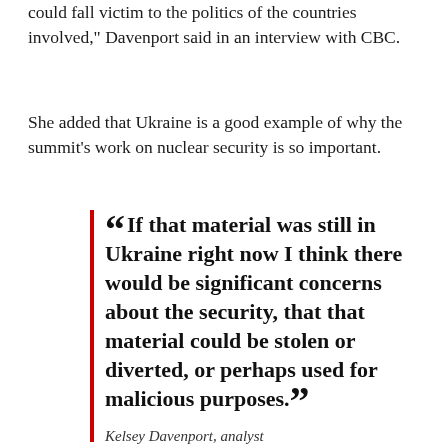could fall victim to the politics of the countries involved," Davenport said in an interview with CBC.
She added that Ukraine is a good example of why the summit's work on nuclear security is so important.
“If that material was still in Ukraine right now I think there would be significant concerns about the security, that that material could be stolen or diverted, or perhaps used for malicious purposes.”
Kelsey Davenport, analyst